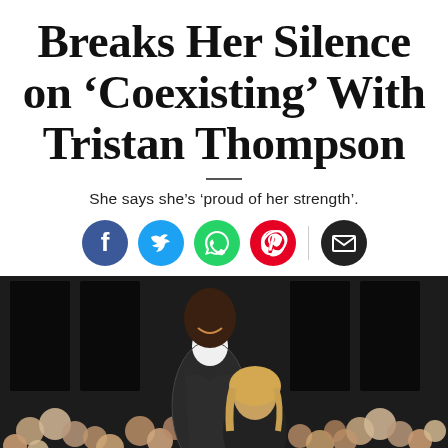Breaks Her Silence on 'Coexisting' With Tristan Thompson
She says she's 'proud of her strength'.
[Figure (infographic): Social media sharing icons: Facebook (blue), Twitter (blue), WhatsApp (green), Pinterest (red), Email (black)]
[Figure (photo): Photo of a tall Black man smiling in a patterned blazer over white turtleneck and a blonde woman in front of balloon decorations at a party venue]